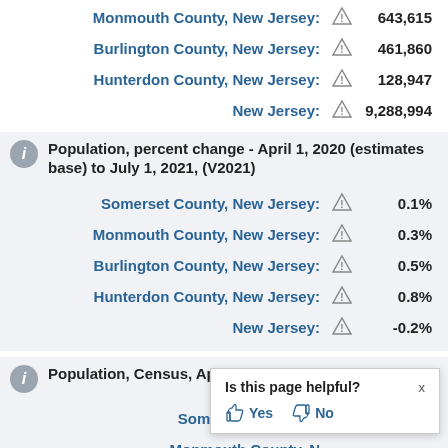| Location | Warning | Value |
| --- | --- | --- |
| Monmouth County, New Jersey: | ⚠ | 643,615 |
| Burlington County, New Jersey: | ⚠ | 461,860 |
| Hunterdon County, New Jersey: | ⚠ | 128,947 |
| New Jersey: | ⚠ | 9,288,994 |
Population, percent change - April 1, 2020 (estimates base) to July 1, 2021, (V2021)
| Location | Warning | Value |
| --- | --- | --- |
| Somerset County, New Jersey: | ⚠ | 0.1% |
| Monmouth County, New Jersey: | ⚠ | 0.3% |
| Burlington County, New Jersey: | ⚠ | 0.5% |
| Hunterdon County, New Jersey: | ⚠ | 0.8% |
| New Jersey: | ⚠ | -0.2% |
Population, Census, April 1, 2020
Somerset County, N... 345,361
Monmouth County, N... (partially visible)